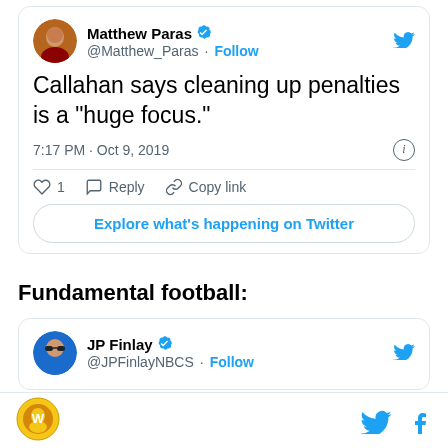[Figure (screenshot): Tweet from @Matthew_Paras with verified badge and Follow button. Tweet text: Callahan says cleaning up penalties is a "huge focus." Posted at 7:17 PM · Oct 9, 2019. Actions: 1 like, Reply, Copy link. Explore what's happening on Twitter button.]
Fundamental football:
[Figure (screenshot): Tweet from JP Finlay (@JPFinlayNBCS) with verified badge and Follow button.]
Footer bar with logo, Twitter bird icon, and Facebook f icon.